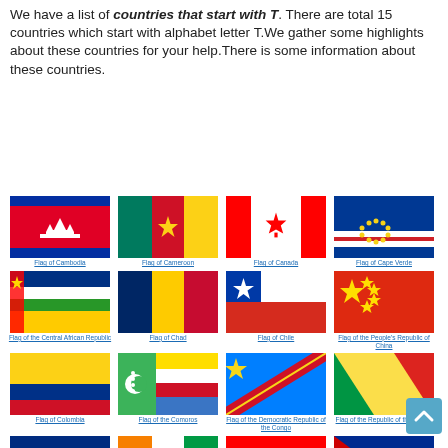We have a list of countries that start with T. There are total 15 countries which start with alphabet letter T.We gather some highlights about these countries for your help.There is some information about these countries.
[Figure (illustration): Flag of Cambodia]
Flag of Cambodia
[Figure (illustration): Flag of Cameroon]
Flag of Cameroon
[Figure (illustration): Flag of Canada]
Flag of Canada
[Figure (illustration): Flag of Cape Verde]
Flag of Cape Verde
[Figure (illustration): Flag of the Central African Republic]
Flag of the Central African Republic
[Figure (illustration): Flag of Chad]
Flag of Chad
[Figure (illustration): Flag of Chile]
Flag of Chile
[Figure (illustration): Flag of the People's Republic of China]
Flag of the People's Republic of China
[Figure (illustration): Flag of Colombia]
Flag of Colombia
[Figure (illustration): Flag of the Comoros]
Flag of the Comoros
[Figure (illustration): Flag of the Democratic Republic of the Congo]
Flag of the Democratic Republic of the Congo
[Figure (illustration): Flag of the Republic of the Congo]
Flag of the Republic of the Congo
[Figure (illustration): Flag of Costa Rica]
Flag of Costa Rica
[Figure (illustration): Flag of Cote d'Ivoire]
Flag of Cote d'Ivoire
[Figure (illustration): Flag of Croatia]
Flag of Croatia
[Figure (illustration): Flag of Cuba]
Flag of Cuba
[Figure (illustration): Flag of Cyprus]
Flag of Cyprus
[Figure (illustration): Flag of Czech Republic]
Flag of Czech Republic